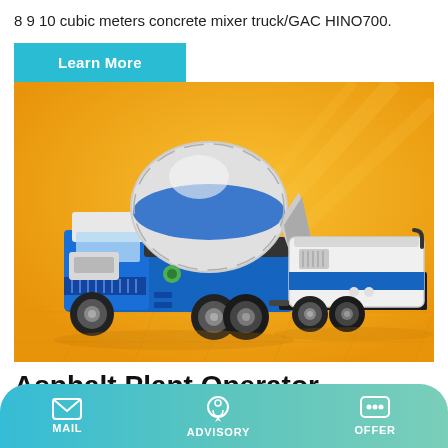8 9 10 cubic meters concrete mixer truck/GAC HINO700.
[Figure (illustration): Learn More button — teal/cyan rectangular button with white text 'Learn More']
[Figure (photo): 3D render of a blue and white concrete mixer truck with a drum mixer on a yellow/orange background, alongside a white and blue trailer pump unit]
Asphalt Plant Operator Resume Examples | JobHero
MAIL   ADVISORY   OFFER